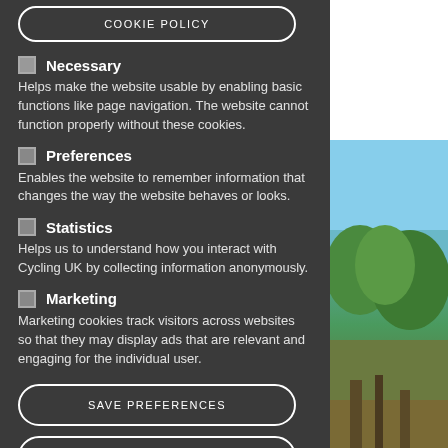COOKIE POLICY
Necessary — Helps make the website usable by enabling basic functions like page navigation. The website cannot function properly without these cookies.
Preferences — Enables the website to remember information that changes the way the website behaves or looks.
Statistics — Helps us to understand how you interact with Cycling UK by collecting information anonymously.
Marketing — Marketing cookies track visitors across websites so that they may display ads that are relevant and engaging for the individual user.
SAVE PREFERENCES
ACCEPT ALL COOKIES
[Figure (photo): Outdoor photo showing blue sky at top and trees/landscape at bottom]